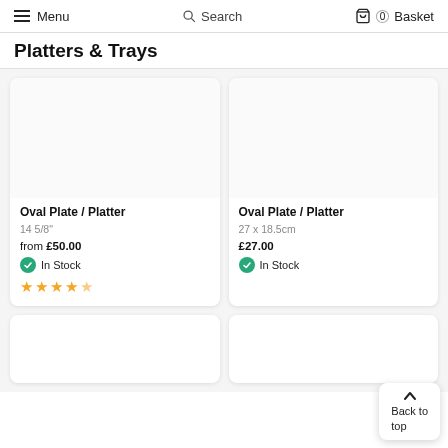Menu  Search  Basket
Platters & Trays
Oval Plate / Platter
14 5/8"
from £50.00
In Stock
★★★★☆
Oval Plate / Platter
27 x 18.5cm
£27.00
In Stock